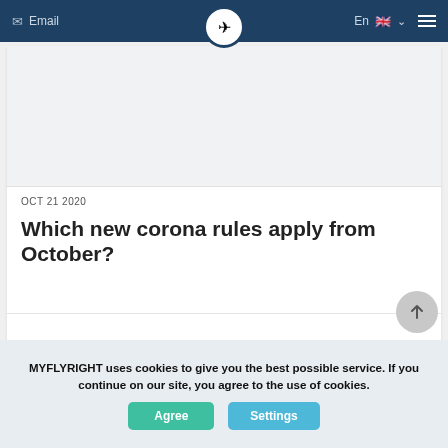Email | MYFLYRIGHT | En | [flag]
[Figure (screenshot): Image placeholder at top of article card]
OCT 21 2020
Which new corona rules apply from October?
As of October the German government has issued a new set of travel rules that apply with regard to COVID-19. Read our article to find out which new corona rules apply from October and how to check the corona situation abroad.
MYFLYRIGHT uses cookies to give you the best possible service. If you continue on our site, you agree to the use of cookies. | Agree | Settings